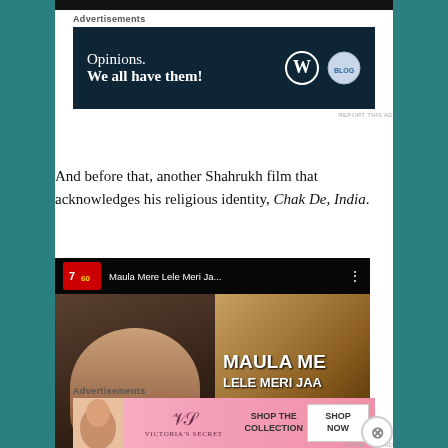[Figure (screenshot): WordPress advertisement banner with dark navy background. Text reads 'Opinions. We all have them!' with WordPress and another circular logo on the right.]
And before that, another Shahrukh film that acknowledges his religious identity, Chak De, India.
[Figure (screenshot): YouTube video thumbnail for 'Maula Mere Lele Meri Ja...' showing a man's face on the left and large golden text 'MAULA ME... LELE MERI JAA' on the right. Video logo in top-left corner.]
[Figure (screenshot): Victoria's Secret advertisement banner with pink background, woman on left, Victoria's Secret logo in center, 'SHOP THE COLLECTION' text, and white 'SHOP NOW' button on right.]